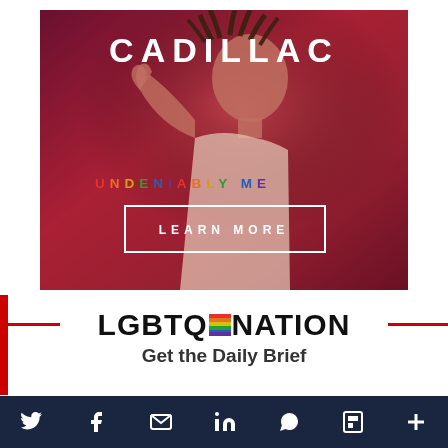[Figure (illustration): Cadillac advertisement banner showing a young Black man in a white shirt against a dark red/maroon background. Text reads 'CADILLAC' at top, 'UNDENIABLY ME' in rainbow-colored letters in the middle, and a 'LEARN MORE' button outlined in white.]
[Figure (logo): LGBTQ Nation logo with rainbow flag emoji integrated into the Q, flanked by red horizontal lines on each side.]
Get the Daily Brief
[Figure (infographic): Dark navy social media sharing bar with icons for Twitter, Facebook, Email, LinkedIn, WhatsApp, Flipboard, and a plus/more button.]